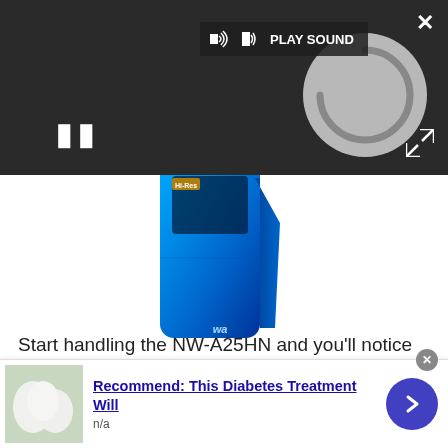[Figure (screenshot): Video player overlay on dark background with PLAY SOUND button, spinning loading circle, pause button (II), close X button top right, and expand arrows bottom right]
[Figure (photo): Blue Sony NW-A25HN portable media player device]
Start handling the NW-A25HN and you'll notice decent build quality but also the lack of a properly substantial feel. That comes as no surprise because the unit only weighs 66g – lightweight usually trumps solidity for portables
[Figure (infographic): Advertisement banner: image of white eggs/pills on left, blue text 'Recommend: This Diabetes Treatment Will', subtext 'n/a', purple arrow button on right, close X button top right]